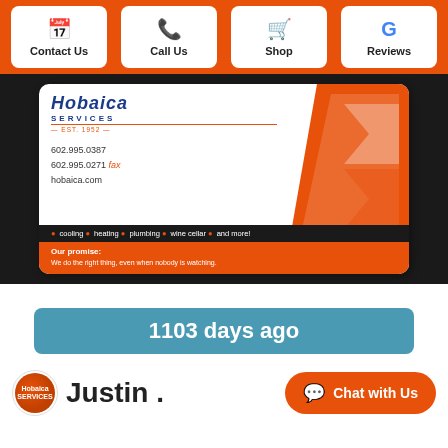Contact Us | Call Us | Shop | Reviews
[Figure (photo): Photo of a Hobaica Services business card showing phone numbers 602.995.0387, 602.995.0271 fax, hobaica.com, services list (cooling, heating, plumbing, wine cellar, and more!), and promise: We do the right thing, even when nobody is watching.]
1103 days ago
[Figure (logo): Hobaica Services logo circle]
Justin .
Chat with Us